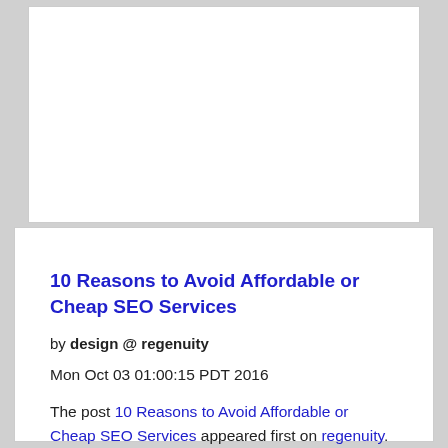[Figure (other): Empty white card placeholder at the top of the page]
10 Reasons to Avoid Affordable or Cheap SEO Services
by design @ regenuity
Mon Oct 03 01:00:15 PDT 2016
The post 10 Reasons to Avoid Affordable or Cheap SEO Services appeared first on regenuity.